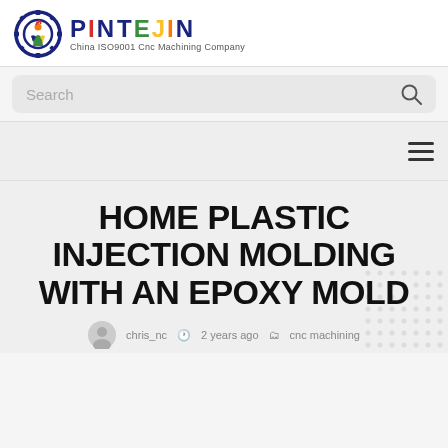[Figure (logo): Pintejin logo with gear icon and figure, colorful text reading PINTEJIN, subtitle: China ISO9001 Cnc Machining Company]
[Figure (screenshot): Search bar with placeholder text 'Search' and magnifying glass icon on grey background]
[Figure (screenshot): Navigation bar with hamburger menu icon on the right]
HOME PLASTIC INJECTION MOLDING WITH AN EPOXY MOLD
chris_nc  2 years ago  cnc machining